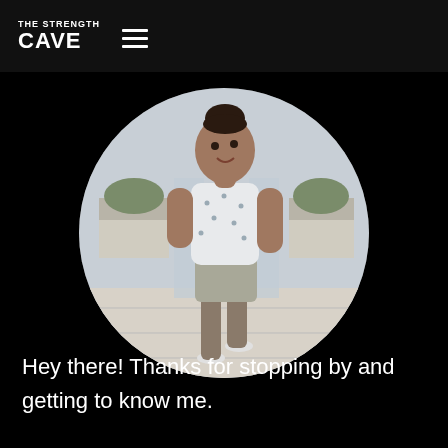THE STRENGTH CAVE
[Figure (photo): Circular cropped photo of a young man with a man-bun hairstyle, wearing a white patterned short-sleeve button-up shirt and grey shorts, walking forward on a light-tiled outdoor rooftop area with planters and glass panels in the background.]
Hey there! Thanks for stopping by and getting to know me.